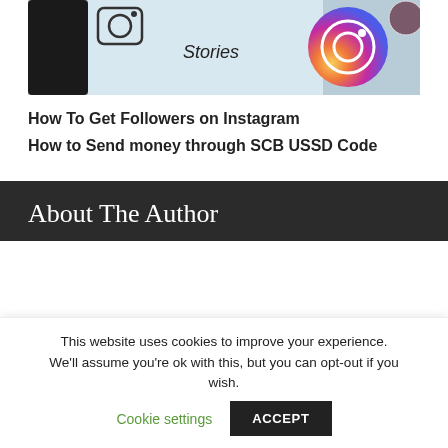[Figure (photo): Instagram Stories interface screenshot showing camera icon, Stories label, and Instagram logo with a profile picture circle]
How To Get Followers on Instagram
How to Send money through SCB USSD Code
About The Author
This website uses cookies to improve your experience. We'll assume you're ok with this, but you can opt-out if you wish. Cookie settings ACCEPT